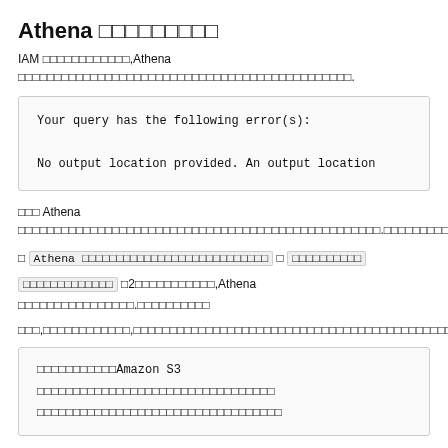Athena □□□□□□□□□
IAM □□□□□□□□□□□□,Athena □□□□□□□□□□□□□□□□□□□□□□□□□□□□□□□□□□□□□□□□□□□□□□.
Your query has the following error(s):
No output location provided. An output location
□□□ Athena □□□□□□□□□□□□□□□□□□□□□□□□□□□□□□□□□□□□□□□□□□□□□□□.□□□□□□□□□□
□ Athena □□□□□□□□□□□□□□□□□□□□□□□□□□□ □ □□□□□□□□□□
□□□□□□□□□□□□□ □2□□□□□□□□□□□□□,Athena □□□□□□□□□□□□□□□□□.□□□□□□□□□□
□□□,□□□□□□□□□□□□,□□□□□□□□□□□□□□□□□□□□□□□□□□□□□□□□□□□□□□□□□□□□□□□□□.
□□□□□□□□□□□Amazon S3 □□□□□□□□□□□□□□□□□□□□□□□□□□□□□□□□□□□□□□□□
□□□□□□□□□□□□□□□□□□□□□□□□□□□□□□□□□